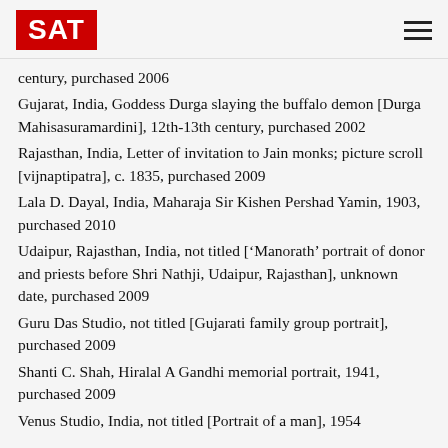SAT
century, purchased 2006
Gujarat, India, Goddess Durga slaying the buffalo demon [Durga Mahisasuramardini], 12th-13th century, purchased 2002
Rajasthan, India, Letter of invitation to Jain monks; picture scroll [vijnaptipatra], c. 1835, purchased 2009
Lala D. Dayal, India, Maharaja Sir Kishen Pershad Yamin, 1903, purchased 2010
Udaipur, Rajasthan, India, not titled ['Manorath' portrait of donor and priests before Shri Nathji, Udaipur, Rajasthan], unknown date, purchased 2009
Guru Das Studio, not titled [Gujarati family group portrait], purchased 2009
Shanti C. Shah, Hiralal A Gandhi memorial portrait, 1941, purchased 2009
Venus Studio, India, not titled [Portrait of a man], 1954